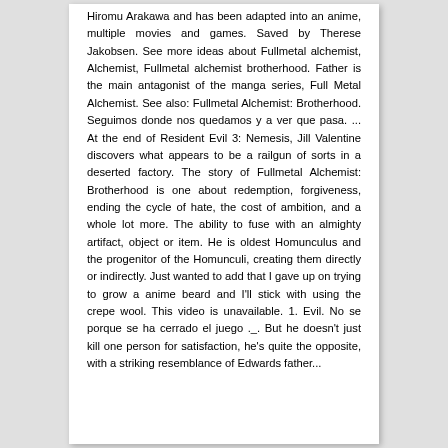Hiromu Arakawa and has been adapted into an anime, multiple movies and games. Saved by Therese Jakobsen. See more ideas about Fullmetal alchemist, Alchemist, Fullmetal alchemist brotherhood. Father is the main antagonist of the manga series, Full Metal Alchemist. See also: Fullmetal Alchemist: Brotherhood. Seguimos donde nos quedamos y a ver que pasa. ... At the end of Resident Evil 3: Nemesis, Jill Valentine discovers what appears to be a railgun of sorts in a deserted factory. The story of Fullmetal Alchemist: Brotherhood is one about redemption, forgiveness, ending the cycle of hate, the cost of ambition, and a whole lot more. The ability to fuse with an almighty artifact, object or item. He is oldest Homunculus and the progenitor of the Homunculi, creating them directly or indirectly. Just wanted to add that I gave up on trying to grow a anime beard and I'll stick with using the crepe wool. This video is unavailable. 1. Evil. No se porque se ha cerrado el juego ._. But he doesn't just kill one person for satisfaction, he's quite the opposite, with a striking resemblance of Edwards father...